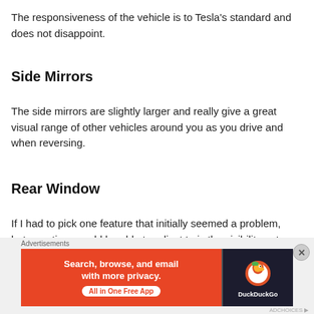The responsiveness of the vehicle is to Tesla's standard and does not disappoint.
Side Mirrors
The side mirrors are slightly larger and really give a great visual range of other vehicles around you as you drive and when reversing.
Rear Window
If I had to pick one feature that initially seemed a problem, but over time would be able to adjust to is the visibility out
[Figure (screenshot): DuckDuckGo advertisement banner: orange left panel with text 'Search, browse, and email with more privacy. All in One Free App' and dark right panel with DuckDuckGo logo.]